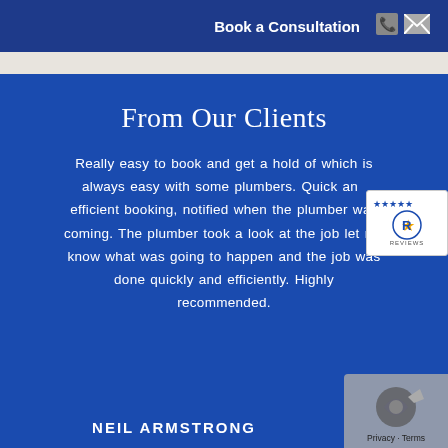Book a Consultation
From Our Clients
Really easy to book and get a hold of which is always easy with some plumbers. Quick and efficient booking, notified when the plumber was coming. The plumber took a look at the job let me know what was going to happen and the job was done quickly and efficiently. Highly recommended.
NEIL ARMSTRONG